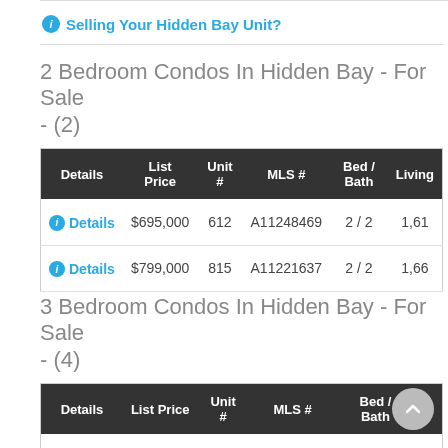Selling Your Hidden Bay Unit?
2 Bedroom Condos In Hidden Bay - For Sale - (2)
| Details | List Price | Unit # | MLS # | Bed / Bath | Living |
| --- | --- | --- | --- | --- | --- |
| Details | $695,000 | 612 | A11248469 | 2 / 2 | 1,61... |
| Details | $799,000 | 815 | A11221637 | 2 / 2 | 1,66... |
3 Bedroom Condos In Hidden Bay - For Sale - (4)
| Details | List Price | Unit # | MLS # | Bed / Bath | Li... |
| --- | --- | --- | --- | --- | --- |
| Details | $900,000 | 508 | A11259645 | 3 / 3 | ... |